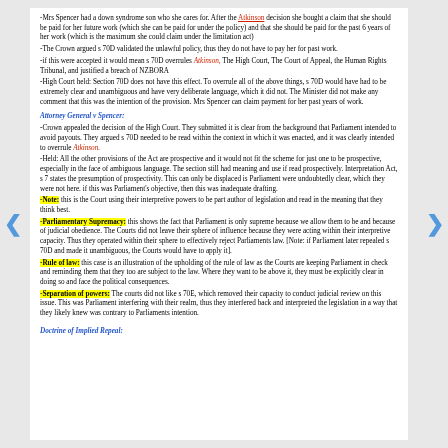-Mrs Spencer had a down syndrome son who she cares for. After the Atkinson decision she bought a claim that she should be paid for her future work (which she can be paid for under the policy) and that she should be paid for the past 6 years of her work (which is the maximum she could claim under the limitation act)
-The Crown argued s 70D validated the unlawful policy, thus they do not have to pay her for past work.
-if this were accepted it would mean s 70D overrules Atkinson, The High Court, The Court of Appeal, the Human Rights Tribunal, and justified a breach of NZBORA
-High Court held: Section 70D does not have this effect. To overrule all of the above things, s 70D would have had to be extremely clear and unambiguous and have very deliberate language, which it did not. The Minister did not make any comment that this was the intention of the provision. Mrs Spencer can claim payment for her past years of work.
Attorney General v Spencer:
-Crown appealed the decision of the High Court. They submitted it is clear from the background that Parliament intended to avoid payouts. They argued s 70D needed to be read within the context in which it was enacted, and it was clearly intended to overrule Atkinson.
-Held: All the other provisions of the Act are prospective and it would not fit the scheme for just one to be prospective, especially in the face of ambiguous language. The section still had meaning and use if read prospectively. Interpretation Act, s 7 states the presumption of prospectivity. This can only be displaced is Parliament were undoubtedly clear, which they were not here. if this was Parliament's objective, then this was inadequate drafting.
-Note: this is the Court using their interpretive powers to be part author of legislation and read in the meaning that they think best.
-Parliamentary Supremacy: this shows the fact that Parliament is only supreme because we allow them to be and because of judicial obedience. The Courts did not leave their sphere of influence because they were acting within their interpretive capacity. Thus they operated within their sphere to effectively reject Parliaments law. [Note: if Parliament later repealed s 70D and made it unambiguous, the Courts would have to apply it].
-Rule of law: this case is an illustration of the upholding of the rule of law as the Courts are keeping Parliament in check and reminding them that they too are subject to the law. Where they want to be above it, they must be explicitly clear in doing so and face the political consequences.
-Separation of powers: The courts did not like s 70E, which removed their capacity to conduct judicial review on this issue. This was Parliament interfering with their realm, thus they interfered back and interpreted the legislation in a way that they likely knew was contrary to Parliaments intention.
Doctrine of Implied Repeal: